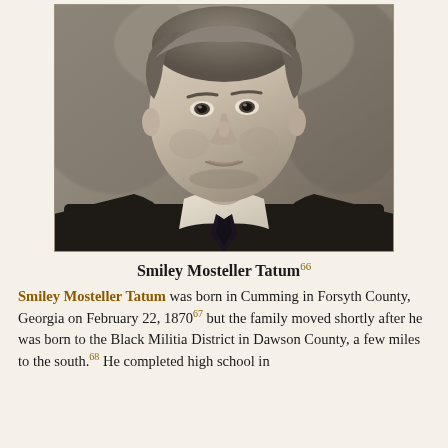[Figure (photo): Black and white portrait photograph of Smiley Mosteller Tatum, a middle-aged man wearing a dark suit, white dress shirt, and dark tie, photographed against a gray background.]
Smiley Mosteller Tatum66
Smiley Mosteller Tatum was born in Cumming in Forsyth County, Georgia on February 22, 187067 but the family moved shortly after he was born to the Black Militia District in Dawson County, a few miles to the south.68 He completed high school in